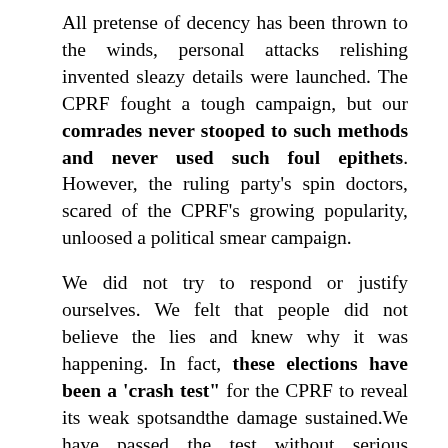All pretense of decency has been thrown to the winds, personal attacks relishing invented sleazy details were launched. The CPRF fought a tough campaign, but our comrades never stooped to such methods and never used such foul epithets. However, the ruling party's spin doctors, scared of the CPRF's growing popularity, unloosed a political smear campaign.
We did not try to respond or justify ourselves. We felt that people did not believe the lies and knew why it was happening. In fact, these elections have been a 'crash test" for the CPRF to reveal its weak spotsandthe damage sustained.We have passed the test without serious damage.
The CPRF Central Staff for elections and the operational headquarters headed by Yuri Afonin concentrated on promoting our programme and supporting regional headquarters. Coordination took place on a daily basis